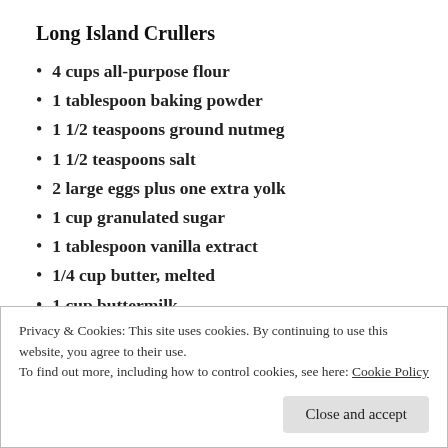Long Island Crullers
4 cups all-purpose flour
1 tablespoon baking powder
1 1/2 teaspoons ground nutmeg
1 1/2 teaspoons salt
2 large eggs plus one extra yolk
1 cup granulated sugar
1 tablespoon vanilla extract
1/4 cup butter, melted
1 cup buttermilk
Vegetable shortening for frying
Privacy & Cookies: This site uses cookies. By continuing to use this website, you agree to their use.
To find out more, including how to control cookies, see here: Cookie Policy